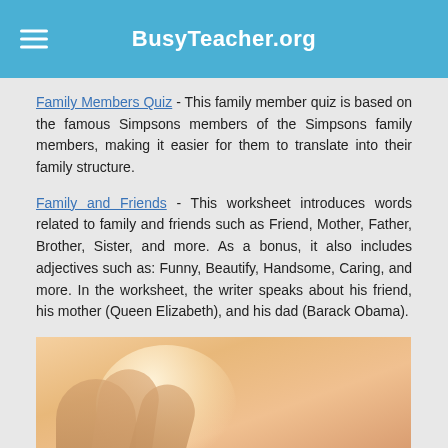BusyTeacher.org
Family Members Quiz - This family member quiz is based on the famous Simpsons members of the Simpsons family members, making it easier for them to translate into their family structure.
Family and Friends - This worksheet introduces words related to family and friends such as Friend, Mother, Father, Brother, Sister, and more. As a bonus, it also includes adjectives such as: Funny, Beautify, Handsome, Caring, and more. In the worksheet, the writer speaks about his friend, his mother (Queen Elizabeth), and his dad (Barack Obama).
[Figure (photo): Warm-toned photo of hands, with soft peach and golden tones, partially visible at the bottom of the page.]